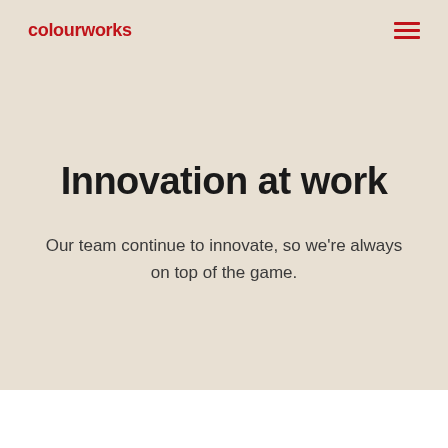colourworks
Innovation at work
Our team continue to innovate, so we're always on top of the game.